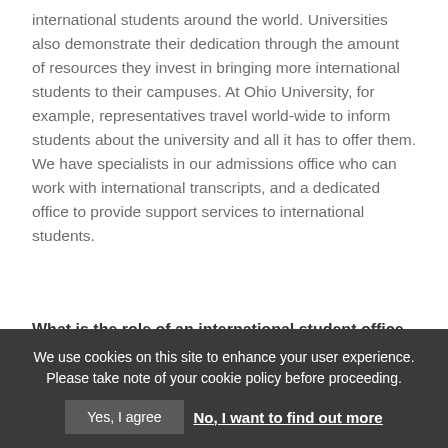international students around the world. Universities also demonstrate their dedication through the amount of resources they invest in bringing more international students to their campuses. At Ohio University, for example, representatives travel world-wide to inform students about the university and all it has to offer them. We have specialists in our admissions office who can work with international transcripts, and a dedicated office to provide support services to international students.
What is the role of an international student office on campus?
We use cookies on this site to enhance your user experience. Please take note of your cookie policy before proceeding.